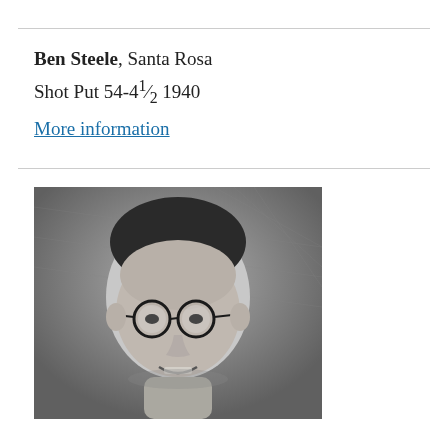Ben Steele, Santa Rosa
Shot Put 54-4½ 1940
More information
[Figure (photo): Black and white portrait photo of Ben Steele, a young man wearing round glasses, smiling slightly, shown from the shoulders up against a textured background.]